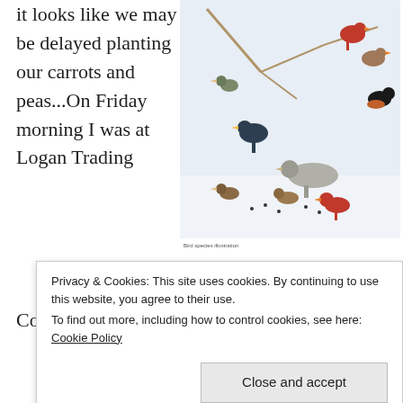it looks like we may be delayed planting our carrots and peas...On Friday morning I was at Logan Trading
[Figure (illustration): Illustrated field guide page showing multiple bird species including cardinals, sparrows, and other winter birds perched on branches and feeding on the ground in snow]
Company buying a packet of cabbage seed and
Privacy & Cookies: This site uses cookies. By continuing to use this website, you agree to their use. To find out more, including how to control cookies, see here: Cookie Policy
Close and accept